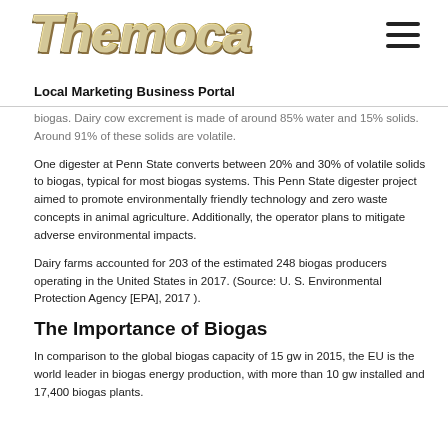Themoca - Local Marketing Business Portal
biogas. Dairy cow excrement is made of around 85% water and 15% solids. Around 91% of these solids are volatile.
One digester at Penn State converts between 20% and 30% of volatile solids to biogas, typical for most biogas systems. This Penn State digester project aimed to promote environmentally friendly technology and zero waste concepts in animal agriculture. Additionally, the operator plans to mitigate adverse environmental impacts.
Dairy farms accounted for 203 of the estimated 248 biogas producers operating in the United States in 2017. (Source: U. S. Environmental Protection Agency [EPA], 2017 ).
The Importance of Biogas
In comparison to the global biogas capacity of 15 gw in 2015, the EU is the world leader in biogas energy production, with more than 10 gw installed and 17,400 biogas plants.